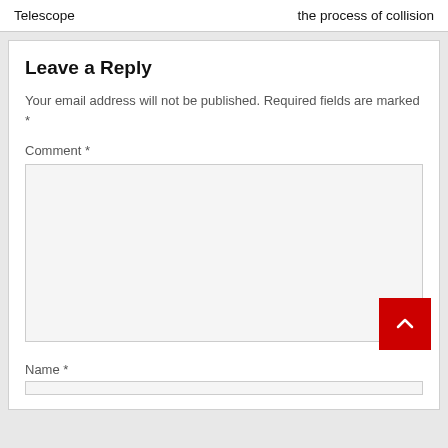Telescope    the process of collision
Leave a Reply
Your email address will not be published. Required fields are marked *
Comment *
Name *